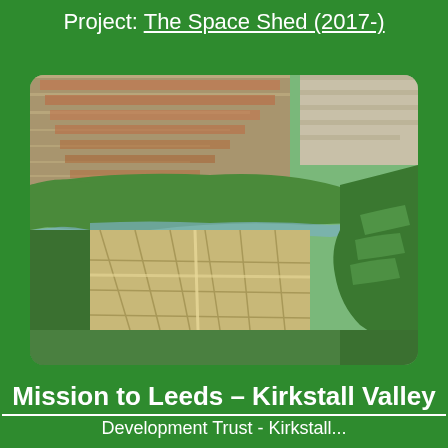Project: The Space Shed (2017-)
[Figure (photo): Aerial photograph of Kirkstall Valley in Leeds, showing residential areas with red-brick terraced houses in the upper portion, a river valley with green spaces and what appears to be allotments or sports fields in the middle, and green hillsides/golf course in the lower right portion.]
Mission to Leeds – Kirkstall Valley
Development Trust - Kirkstall...